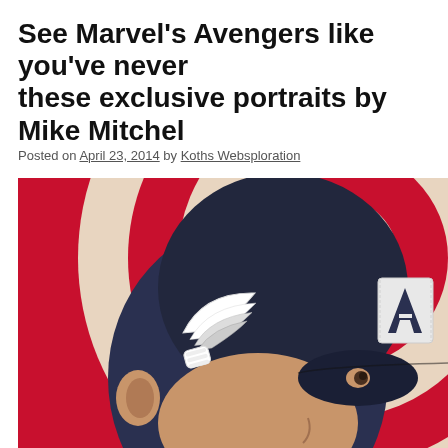See Marvel's Avengers like you've never these exclusive portraits by Mike Mitchell
Posted on April 23, 2014 by Koths Websploration
[Figure (illustration): Digital illustration portrait of Captain America wearing his dark navy blue helmet with white wing emblems on the sides and a white 'A' on the forehead, set against a red and cream concentric circle background resembling a target/shield pattern. The character's face is partially visible showing his ear and one eye.]